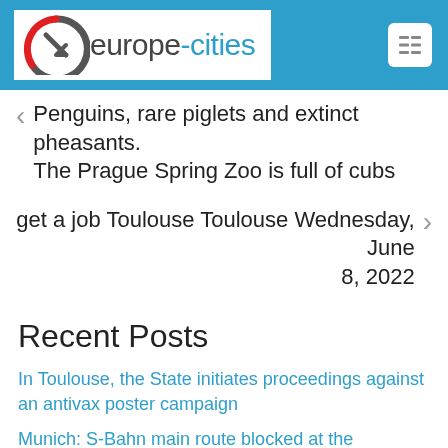europe-cities
< Penguins, rare piglets and extinct pheasants. The Prague Spring Zoo is full of cubs
get a job Toulouse Toulouse Wednesday, June 8, 2022 >
Recent Posts
In Toulouse, the State initiates proceedings against an antivax poster campaign
Munich: S-Bahn main route blocked at the weekend — Munich